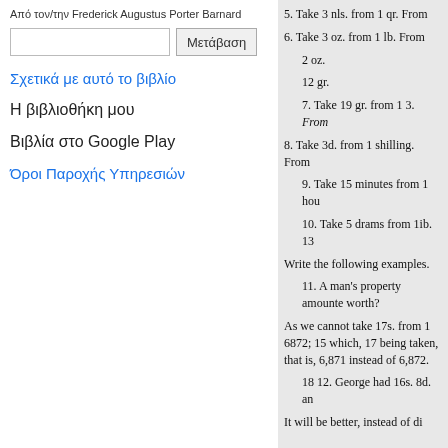Από τον/την Frederick Augustus Porter Barnard
Μετάβαση
Σχετικά με αυτό το βιβλίο
Η βιβλιοθήκη μου
Βιβλία στο Google Play
Όροι Παροχής Υπηρεσιών
5. Take 3 nls. from 1 qr. From
6. Take 3 oz. from 1 lb. From
2 oz.
12 gr.
7. Take 19 gr. from 1 3. From
8. Take 3d. from 1 shilling. From
9. Take 15 minutes from 1 hou
10. Take 5 drams from 1ib. 13
Write the following examples.
11. A man's property amounte worth?
As we cannot take 17s. from 1 6872; 15 which, 17 being taken, that is, 6,871 instead of 6,872.
18 12. George had 16s. 8d. an
It will be better, instead of di